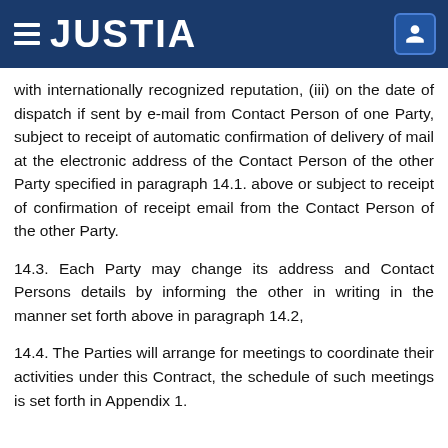JUSTIA
with internationally recognized reputation, (iii) on the date of dispatch if sent by e-mail from Contact Person of one Party, subject to receipt of automatic confirmation of delivery of mail at the electronic address of the Contact Person of the other Party specified in paragraph 14.1. above or subject to receipt of confirmation of receipt email from the Contact Person of the other Party.
14.3. Each Party may change its address and Contact Persons details by informing the other in writing in the manner set forth above in paragraph 14.2,
14.4. The Parties will arrange for meetings to coordinate their activities under this Contract, the schedule of such meetings is set forth in Appendix 1.